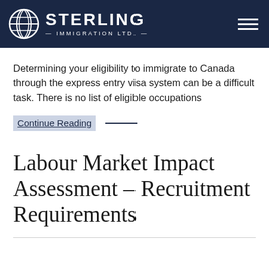STERLING IMMIGRATION LTD.
Determining your eligibility to immigrate to Canada through the express entry visa system can be a difficult task. There is no list of eligible occupations
Continue Reading —
Labour Market Impact Assessment – Recruitment Requirements